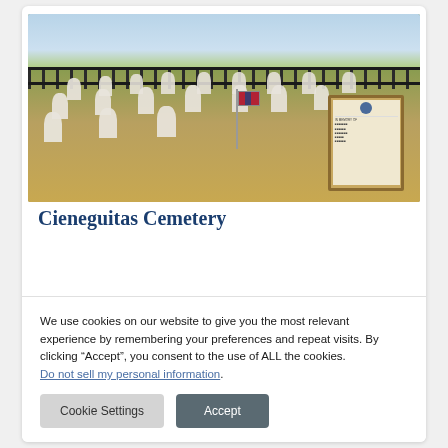[Figure (photo): Outdoor photograph of Cieneguitas Cemetery showing rows of white grave markers on grassy ground, a dark metal fence in the background, trees and hills behind. An American flag and a memorial placard are visible in the foreground right.]
Cieneguitas Cemetery
We use cookies on our website to give you the most relevant experience by remembering your preferences and repeat visits. By clicking “Accept”, you consent to the use of ALL the cookies. Do not sell my personal information.